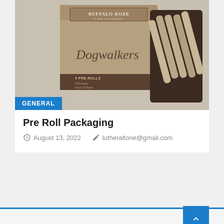[Figure (photo): Product photo of Buffalo Roze Fine Cannabis Dogwalkers 5 Pre-Rolls packaging with pre-rolled joints displayed beside the box]
GENERAL
Pre Roll Packaging
August 13, 2022   lutheraltone@gmail.com
Want To Be Listed?